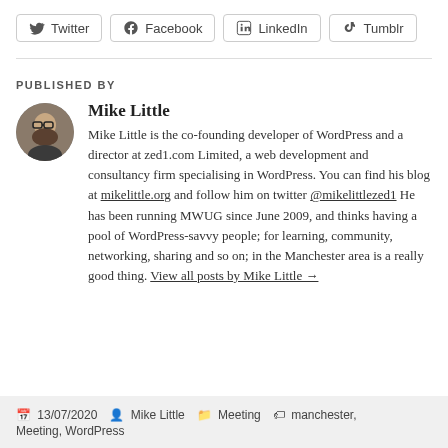[Figure (other): Social share buttons row: Twitter, Facebook, LinkedIn, Tumblr]
PUBLISHED BY
[Figure (photo): Circular avatar photo of Mike Little]
Mike Little
Mike Little is the co-founding developer of WordPress and a director at zed1.com Limited, a web development and consultancy firm specialising in WordPress. You can find his blog at mikelittle.org and follow him on twitter @mikelittlezed1 He has been running MWUG since June 2009, and thinks having a pool of WordPress-savvy people; for learning, community, networking, sharing and so on; in the Manchester area is a really good thing. View all posts by Mike Little →
13/07/2020  Mike Little  Meeting  manchester, Meeting, WordPress